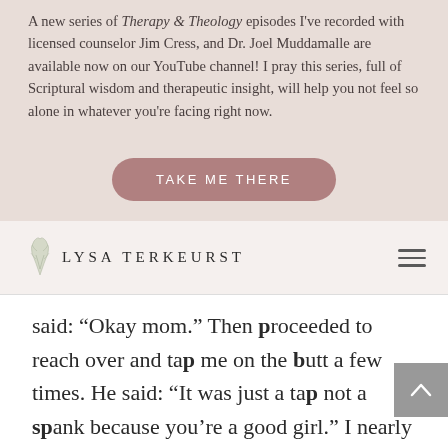A new series of Therapy & Theology episodes I've recorded with licensed counselor Jim Cress, and Dr. Joel Muddamalle are available now on our YouTube channel! I pray this series, full of Scriptural wisdom and therapeutic insight, will help you not feel so alone in whatever you're facing right now.
[Figure (other): Button with text TAKE ME THERE on a dusty rose/mauve rounded rectangle background]
[Figure (logo): Lysa TerKeurst logo with botanical leaf illustration and text LYSA TERKEURST in spaced serif caps, plus hamburger menu icon on the right]
said: “Okay mom.” Then proceeded to reach over and tap me on the butt a few times. He said: “It was just a tap not a spank because you’re a good girl.” I nearly died laughing!” Lysa, thanks again for your ministry.